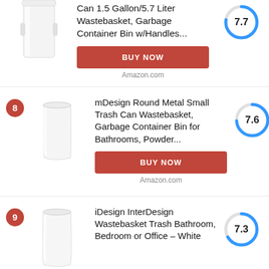Can 1.5 Gallon/5.7 Liter Wastebasket, Garbage Container Bin w/Handles...
BUY NOW
Amazon.com
[Figure (donut-chart): Score circle showing 7.7]
mDesign Round Metal Small Trash Can Wastebasket, Garbage Container Bin for Bathrooms, Powder...
BUY NOW
Amazon.com
[Figure (donut-chart): Score circle showing 7.6]
iDesign InterDesign Wastebasket Trash Bathroom, Bedroom or Office - White
[Figure (donut-chart): Score circle showing 7.3]